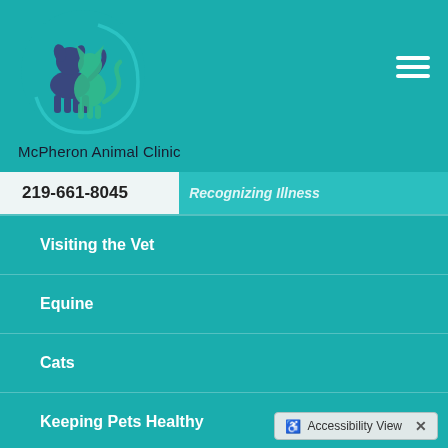[Figure (logo): McPheron Animal Clinic logo: circular design with silhouettes of a dog and cat on a teal background with a crescent arc]
McPheron Animal Clinic
219-661-8045
Recognizing Illness
Visiting the Vet
Equine
Cats
Keeping Pets Healthy
Accessibility View